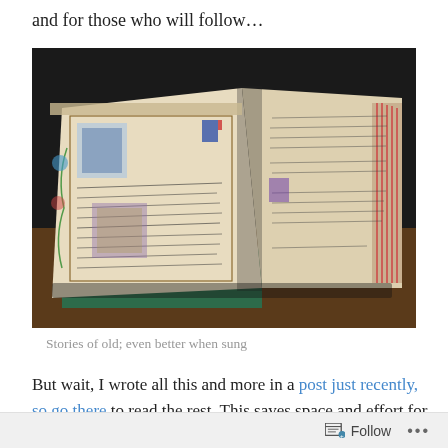and for those who will follow…
[Figure (photo): An open illuminated medieval manuscript or psalter on a wooden stand, showing decorated pages with ornate colorful initials, handwritten Latin text in gothic script, and illustrated miniatures. The pages are aged parchment with red-striped edges visible on the right side.]
Stories of old; even better when sung
But wait, I wrote all this and more in a post just recently, so go there to read the rest. This saves space and effort for the web-master; however a close inspection shows that this psalm reading selects different verses. So while it's
Follow ···